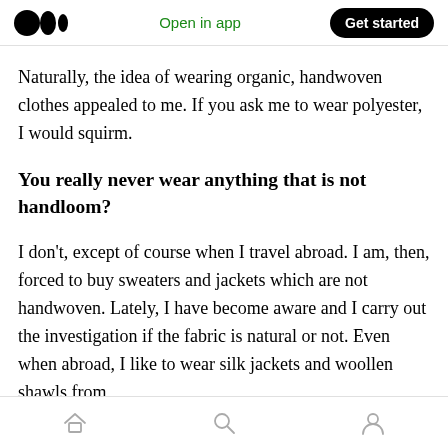Medium app navigation bar with logo, 'Open in app', and 'Get started' button
Naturally, the idea of wearing organic, handwoven clothes appealed to me. If you ask me to wear polyester, I would squirm.
You really never wear anything that is not handloom?
I don't, except of course when I travel abroad. I am, then, forced to buy sweaters and jackets which are not handwoven. Lately, I have become aware and I carry out the investigation if the fabric is natural or not. Even when abroad, I like to wear silk jackets and woollen shawls from
Home, Search, Profile icons